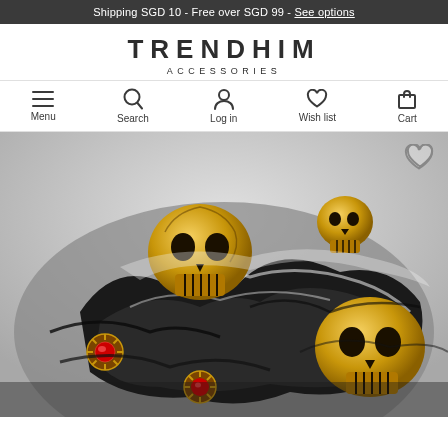Shipping SGD 10 - Free over SGD 99 - See options
TRENDHIM ACCESSORIES
[Figure (screenshot): Navigation bar with icons for Menu, Search, Log in, Wish list, Cart]
[Figure (photo): Close-up photo of a decorative skull ring with gold skulls, black oxidized silver, and red gemstone accents]